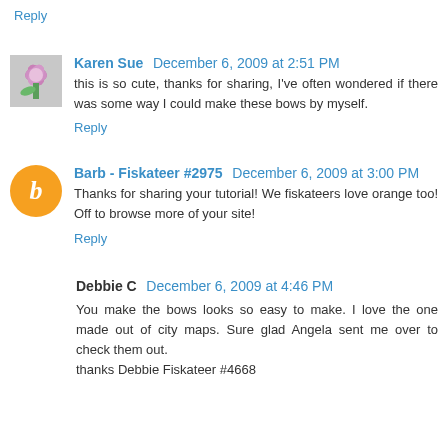Reply
Karen Sue  December 6, 2009 at 2:51 PM
this is so cute, thanks for sharing, I've often wondered if there was some way I could make these bows by myself.
Reply
Barb - Fiskateer #2975  December 6, 2009 at 3:00 PM
Thanks for sharing your tutorial! We fiskateers love orange too! Off to browse more of your site!
Reply
Debbie C  December 6, 2009 at 4:46 PM
You make the bows looks so easy to make. I love the one made out of city maps. Sure glad Angela sent me over to check them out.
thanks Debbie Fiskateer #4668